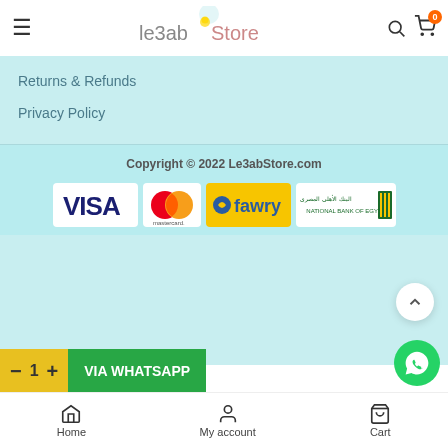Le3ab Store
Returns & Refunds
Privacy Policy
Copyright © 2022 Le3abStore.com
[Figure (logo): Payment method logos: VISA, Mastercard, Fawry, National Bank of Egypt]
Home | My account | Cart